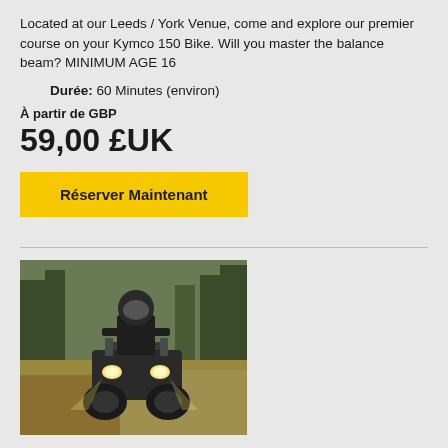Located at our Leeds / York Venue, come and explore our premier course on your Kymco 150 Bike. Will you master the balance beam? MINIMUM AGE 16
Durée: 60 Minutes (environ)
À partir de GBP
59,00 £UK
Réserver Maintenant
[Figure (photo): Person riding a quad bike / ATV facing camera, outdoors in a wooded setting with lights on]
Quad Biking Explorer at Hazlewood Castle